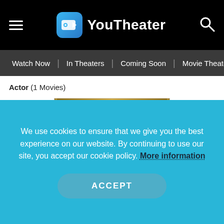YouTheater
Watch Now | In Theaters | Coming Soon | Movie Theaters |
Actor (1 Movies)
[Figure (photo): Movie poster for The Great Gatsby showing stylized 1920s characters with GATSBY title text]
We use cookies to ensure that we give you the best experience on our website. By continuing to use our site, you accept our cookie policy. More information
ACCEPT